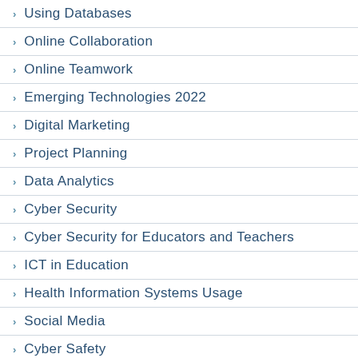Using Databases
Online Collaboration
Online Teamwork
Emerging Technologies 2022
Digital Marketing
Project Planning
Data Analytics
Cyber Security
Cyber Security for Educators and Teachers
ICT in Education
Health Information Systems Usage
Social Media
Cyber Safety
Online Search
Computing
Advanced Word Processing